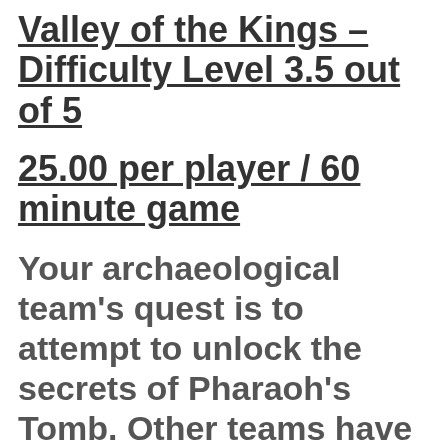Valley of the Kings – Difficulty Level 3.5 out of 5
25.00 per player / 60 minute game
Your archaeological team's quest is to attempt to unlock the secrets of Pharaoh's Tomb. Other teams have attempted and vanished during their search. The Ancient Egyptians were known for their mystical ways